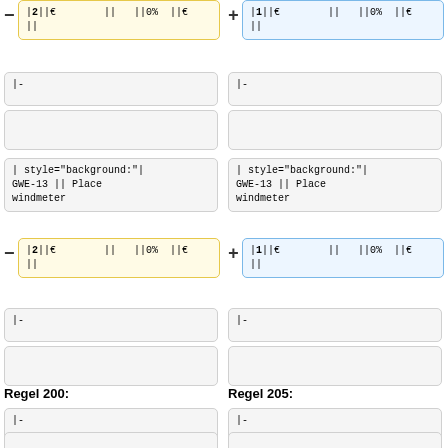|2||€        ||   ||0%  ||€
||
|1||€        ||   ||0%  ||€
||
|-
|-
| style="background:"|
GWE-13 || Place
windmeter
| style="background:"|
GWE-13 || Place
windmeter
|2||€        ||   ||0%  ||€
||
|1||€        ||   ||0%  ||€
||
|-
|-
Regel 200:
Regel 205:
|-
|-